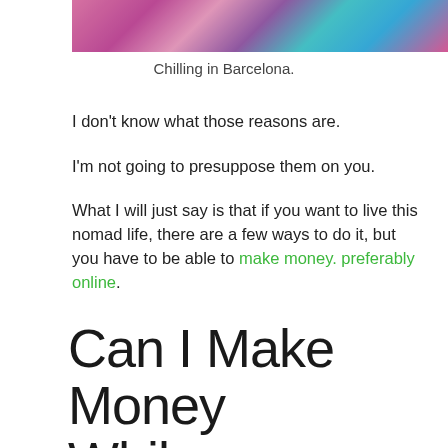[Figure (photo): Cropped photo showing colorful clothing/people, partial view at top of page]
Chilling in Barcelona.
I don't know what those reasons are.
I'm not going to presuppose them on you.
What I will just say is that if you want to live this nomad life, there are a few ways to do it, but you have to be able to make money. preferably online.
Can I Make Money While Traveling?